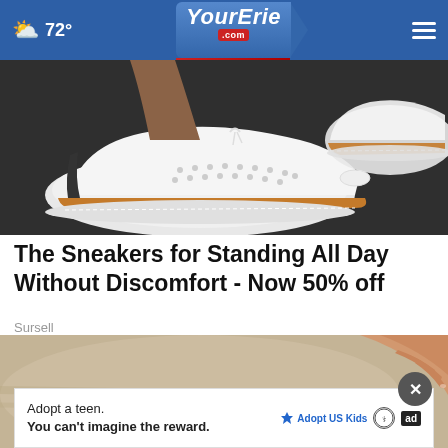☁ 72° | YourErie.com
[Figure (photo): Close-up photo of white perforated sneakers with tan/cork soles and white stitching on a dark asphalt surface]
The Sneakers for Standing All Day Without Discomfort - Now 50% off
Sursell
[Figure (photo): Photo of hands touching or folding beige fabric/material, with a popup ad overlay. Close-up showing skin tones and light fabric.]
Adopt a teen. You can't imagine the reward.